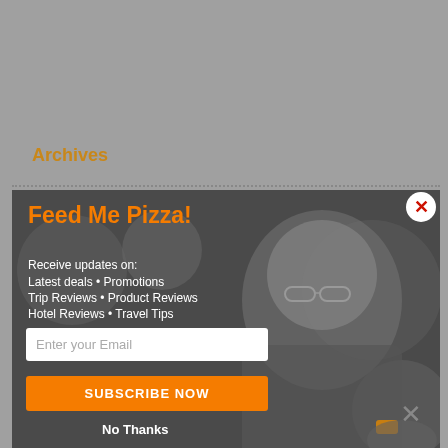Archives
[Figure (screenshot): A popup modal overlay on a gray background. The modal shows a man smiling in grayscale. The modal contains: title 'Feed Me Pizza!', text 'Receive updates on: Latest deals • Promotions • Trip Reviews • Product Reviews • Hotel Reviews • Travel Tips', an email input field, an orange SUBSCRIBE NOW button, and a 'No Thanks' link. A red X close button appears in the top-right corner of the modal.]
Feed Me Pizza!
Receive updates on:
Latest deals • Promotions
Trip Reviews • Product Reviews
Hotel Reviews • Travel Tips
Enter your Email
SUBSCRIBE NOW
No Thanks